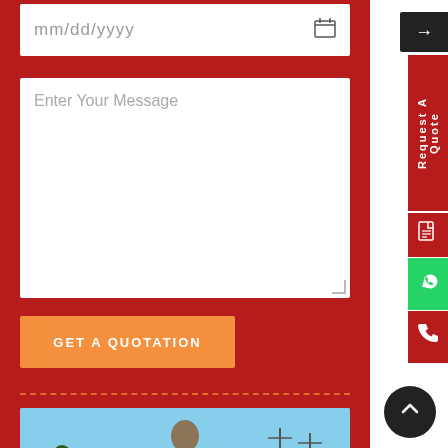[Figure (screenshot): Date input field with placeholder mm/dd/yyyy and calendar icon on white background]
[Figure (screenshot): Message textarea with 'Enter Your Message' placeholder text on white background]
[Figure (screenshot): Orange GET A QUOTATION button on red background]
[Figure (screenshot): Dashed orange separator line]
[Figure (photo): Buddha statue against blue sky with trees/utility poles in background]
[Figure (screenshot): Right sidebar with black arrow button, red Request A Quote label, document icon, green WhatsApp icon, red phone icon, and black back-to-top circle button]